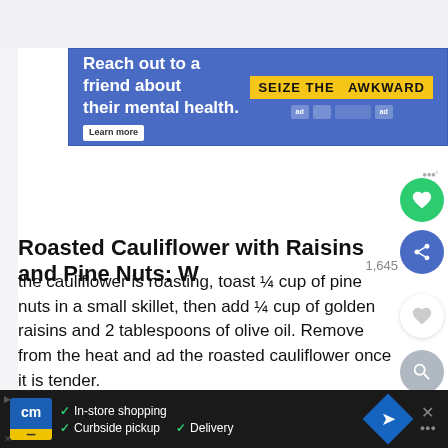[Figure (other): Blue advertisement banner: 'Reach out to a friend about their mental health. Learn more' with 'SEIZE THE AWKWARD' logo on the right]
Roasted Cauliflower with Raisins and Pine Nuts: W
the cauliflower is roasting, toast ¼ cup of pine nuts in a small skillet, then add ¼ cup of golden raisins and 2 tablespoons of olive oil. Remove from the heat and add the roasted cauliflower once it is tender.
I first had this version at one of my favorite restaurants Half Moon Bay called Sam's Chowder House and it's one of
[Figure (other): Bottom advertisement bar for CM (store shopping app) showing In-store shopping, Curbside pickup, Delivery options with navigation diamond icon]